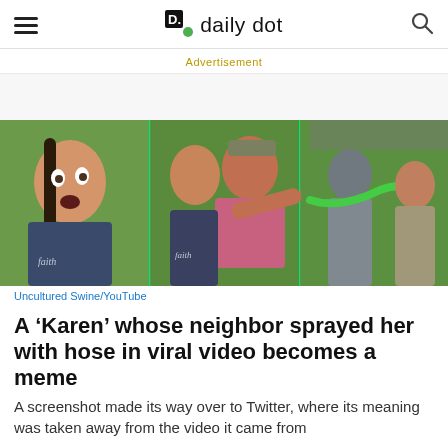daily dot
Advertisement
[Figure (photo): Three-panel collage of video screenshots showing women outdoors on grass. Left panel: woman with wide eyes and open mouth wearing a dark 'Faith' t-shirt. Center panel: same woman with another woman in a pink shirt pointing aggressively. Right panel: a person spraying a green hose at another person.]
Uncultured Swine/YouTube
A ‘Karen’ whose neighbor sprayed her with hose in viral video becomes a meme
A screenshot made its way over to Twitter, where its meaning was taken away from the video it came from